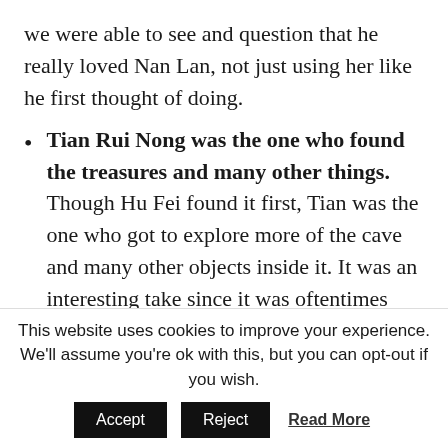we were able to see and question that he really loved Nan Lan, not just using her like he first thought of doing.
Tian Rui Nong was the one who found the treasures and many other things. Though Hu Fei found it first, Tian was the one who got to explore more of the cave and many other objects inside it. It was an interesting take since it was oftentimes that the main guy stumbled upon those situations and not as much as the villain. Not to mention how someone did not bother doing research on the types of martial arts mentioned that Tian had acquired since it was mentioned in The Return of the
This website uses cookies to improve your experience. We'll assume you're ok with this, but you can opt-out if you wish.